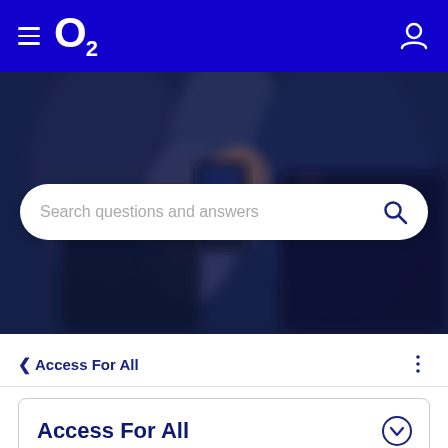O2 navigation bar with hamburger menu, O2 logo, and user icon
[Figure (photo): Blurred photo of people looking at a smartphone, dark blue overlay, used as hero banner background]
Search questions and answers
< Access For All
Access For All